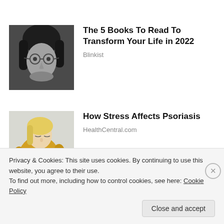[Figure (photo): Black and white photo of a young man with long hair and round glasses]
The 5 Books To Read To Transform Your Life in 2022
Blinkist
[Figure (photo): Color photo of a blonde woman in a yellow sweater scratching her arm]
How Stress Affects Psoriasis
HealthCentral.com
Privacy & Cookies: This site uses cookies. By continuing to use this website, you agree to their use.
To find out more, including how to control cookies, see here: Cookie Policy
Close and accept